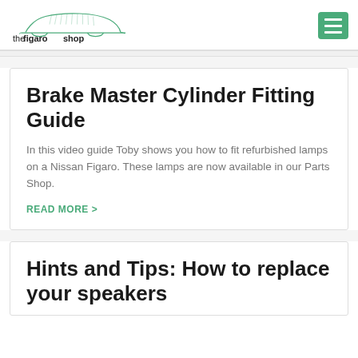[Figure (logo): The Figaro Shop logo with a car outline drawing above the text 'thefigaroshop' and a green hamburger menu button on the right]
Brake Master Cylinder Fitting Guide
In this video guide Toby shows you how to fit refurbished lamps on a Nissan Figaro.  These lamps are now available in our Parts Shop.
READ MORE >
Hints and Tips: How to replace your speakers